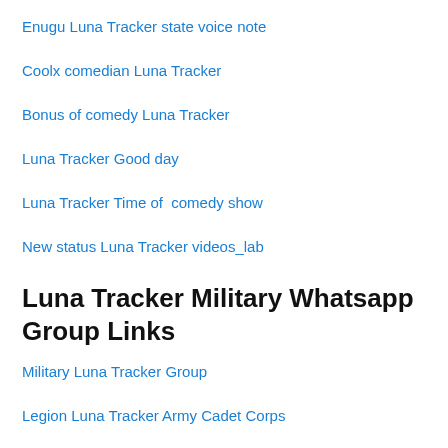Enugu Luna Tracker state voice note
Coolx comedian Luna Tracker
Bonus of comedy Luna Tracker
Luna Tracker Good day
Luna Tracker Time of  comedy show
New status Luna Tracker videos_lab
Luna Tracker Military Whatsapp Group Links
Military Luna Tracker Group
Legion Luna Tracker Army Cadet Corps